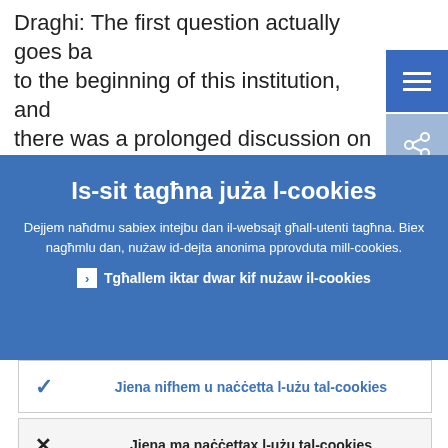Draghi: The first question actually goes ba to the beginning of this institution, and there was a prolonged discussion on
Is-sit tagħna juża l-cookies
Dejjem naħdmu sabiex intejbu dan il-websajt għall-utenti tagħna. Biex nagħmlu dan, nużaw id-dejta anonima pprovduta mill-cookies.
› Tgħallem iktar dwar kif nużaw il-cookies
Jiena nifhem u naċċetta l-użu tal-cookies
Jiena ma naċċettax l-użu tal-cookies